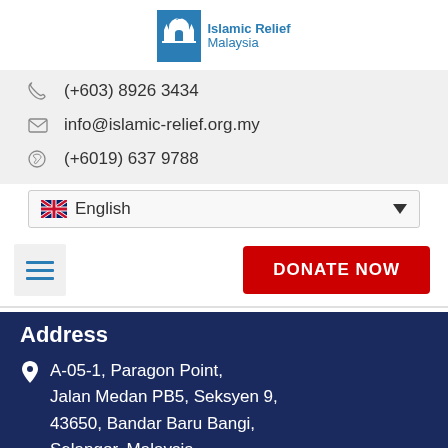[Figure (logo): Islamic Relief Malaysia logo — blue mosque icon with 'Islamic Relief Malaysia' text in blue]
(+603) 8926 3434
info@islamic-relief.org.my
(+6019) 637 9788
English (language selector dropdown)
[Figure (other): Navigation bar with hamburger menu icon and DONATE NOW red button]
Address
A-05-1, Paragon Point, Jalan Medan PB5, Seksyen 9, 43650, Bandar Baru Bangi, Selangor, Malaysia